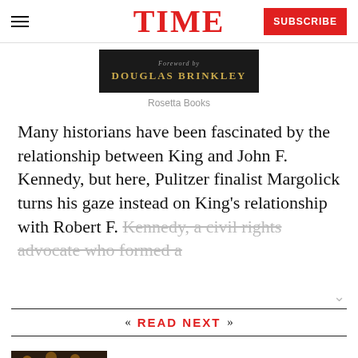TIME
[Figure (illustration): Book cover section showing 'Foreword by Douglas Brinkley' text on dark background]
Rosetta Books
Many historians have been fascinated by the relationship between King and John F. Kennedy, but here, Pulitzer finalist Margolick turns his gaze instead on King's relationship with Robert F. Kennedy, a civil rights advocate who formed a
READ NEXT
[Figure (photo): Interior of an upscale restaurant with diners seated at tables in warm lighting]
America's Top Chefs Recommend Their Favorite Restaurants